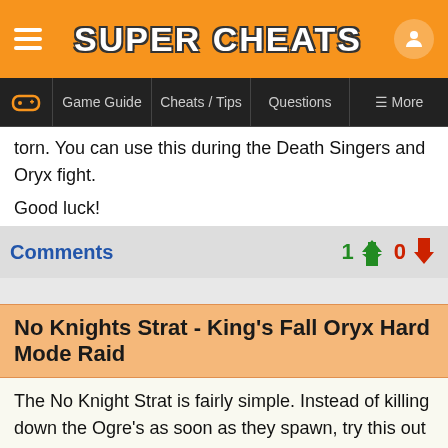SUPER CHEATS
torn. You can use this during the Death Singers and Oryx fight.
Good luck!
Comments
No Knights Strat - King's Fall Oryx Hard Mode Raid
The No Knight Strat is fairly simple. Instead of killing down the Ogre's as soon as they spawn, try this out with your next Fire team.
Have your 1, 2, 3 designated plate players do what they do activating the plates accordingly. Have them sit back so they cannot be shot by any enemies.
The torn guy will do everything normal, jump his way to the relic. Take out the knight and meet the team on the top where